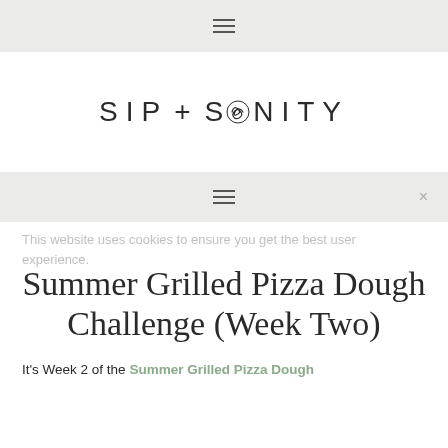≡ (hamburger menu icon)
[Figure (logo): SIP + SANITY logo with stylized scribble replacing the 'A' in SANITY, light sans-serif lettering with wide tracking]
≡  ×
This website uses cookies to ensure you get the best user experience.
Summer Grilled Pizza Dough Challenge (Week Two)
It's Week 2 of the Summer Grilled Pizza Dough